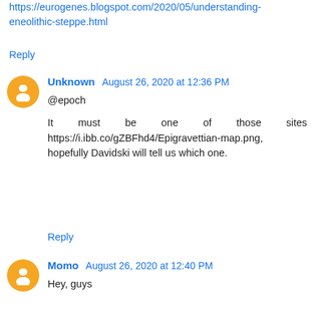https://eurogenes.blogspot.com/2020/05/understanding-eneolithic-steppe.html
Reply
Unknown  August 26, 2020 at 12:36 PM
@epoch

It must be one of those sites https://i.ibb.co/gZBFhd4/Epigravettian-map.png, hopefully Davidski will tell us which one.
Reply
Momo  August 26, 2020 at 12:40 PM
Hey, guys